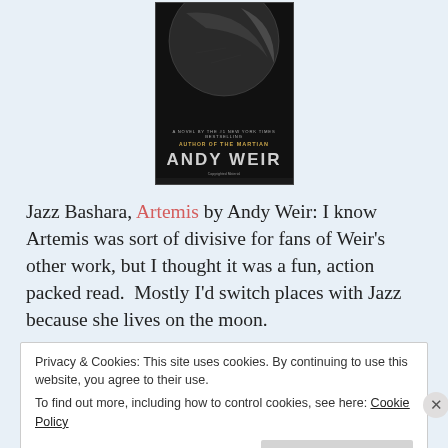[Figure (photo): Book cover of Artemis by Andy Weir. Dark cover with moon image, subtitle 'A Novel by the #1 New York Times Bestselling Author of The Martian', author name ANDY WEIR in large stylized letters, and 'Copyrighted Material' watermark.]
Jazz Bashara, Artemis by Andy Weir: I know Artemis was sort of divisive for fans of Weir's other work, but I thought it was a fun, action packed read.  Mostly I'd switch places with Jazz because she lives on the moon.
Privacy & Cookies: This site uses cookies. By continuing to use this website, you agree to their use.
To find out more, including how to control cookies, see here: Cookie Policy
Close and accept